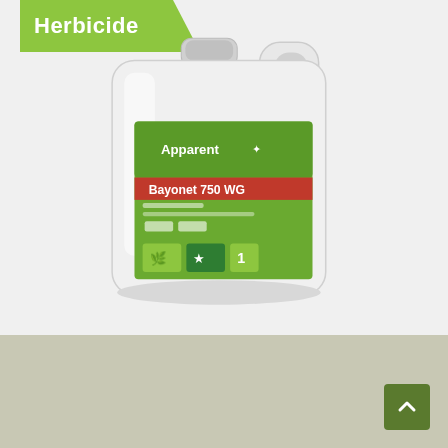Herbicide
[Figure (photo): White plastic jug/container of Apparent Bayonet 750 WG herbicide product. The jug has a green and red label showing the Apparent brand logo, product name Bayonet 750 WG, and icons including an Australian map and resistance management group indicators.]
Apparent Bayonet 750